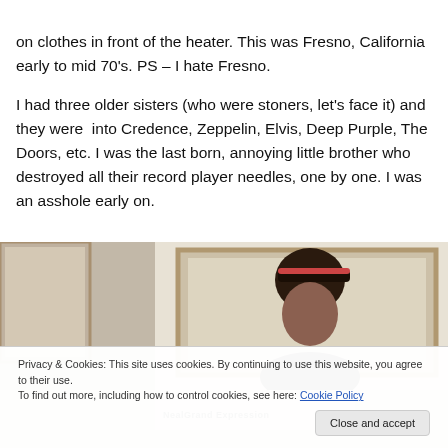on clothes in front of the heater. This was Fresno, California early to mid 70's. PS – I hate Fresno.
I had three older sisters (who were stoners, let's face it) and they were  into Credence, Zeppelin, Elvis, Deep Purple, The Doors, etc. I was the last born, annoying little brother who destroyed all their record player needles, one by one. I was an asshole early on.
[Figure (photo): Partial photo showing a person wearing a cap in front of a framed artwork, with another partial frame on the left edge. Bottom shows partial text/logo 'NearGrand Expression'.]
Privacy & Cookies: This site uses cookies. By continuing to use this website, you agree to their use.
To find out more, including how to control cookies, see here: Cookie Policy